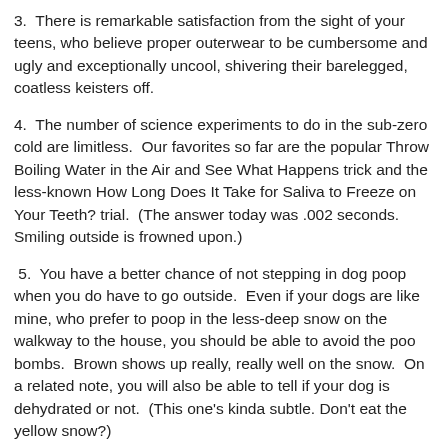3.  There is remarkable satisfaction from the sight of your teens, who believe proper outerwear to be cumbersome and ugly and exceptionally uncool, shivering their barelegged, coatless keisters off.
4.  The number of science experiments to do in the sub-zero cold are limitless.  Our favorites so far are the popular Throw Boiling Water in the Air and See What Happens trick and the less-known How Long Does It Take for Saliva to Freeze on Your Teeth? trial.  (The answer today was .002 seconds.  Smiling outside is frowned upon.)
5.  You have a better chance of not stepping in dog poop when you do have to go outside.  Even if your dogs are like mine, who prefer to poop in the less-deep snow on the walkway to the house, you should be able to avoid the poo bombs.  Brown shows up really, really well on the snow.  On a related note, you will also be able to tell if your dog is dehydrated or not.  (This one's kinda subtle. Don't eat the yellow snow?)
6.  You will get a better understanding of science from your...